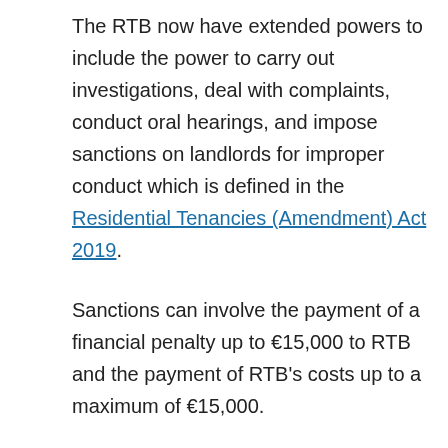The RTB now have extended powers to include the power to carry out investigations, deal with complaints, conduct oral hearings, and impose sanctions on landlords for improper conduct which is defined in the Residential Tenancies (Amendment) Act 2019. Sanctions can involve the payment of a financial penalty up to €15,000 to RTB and the payment of RTB's costs up to a maximum of €15,000.